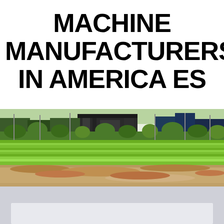MACHINE MANUFACTURERS IN AMERICA ES
[Figure (photo): Panoramic photo of an industrial facility or factory complex with green grass/vegetation in the foreground, dirt/gravel ground, and large modern industrial buildings in the background with trees and structures.]